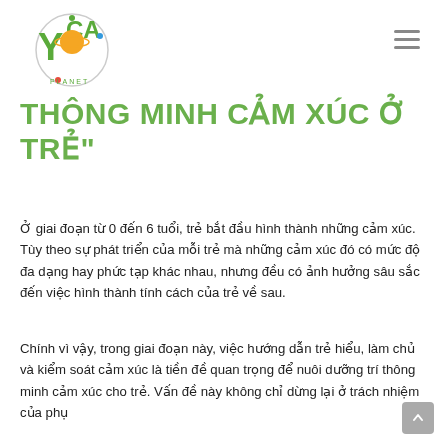[Figure (logo): Yoga Planet logo — circular emblem with stylized Y, orange planet, green dots, and text 'YOCA PLANET']
THÔNG MINH CẢM XÚC Ở TRẺ"
Ở giai đoạn từ 0 đến 6 tuổi, trẻ bắt đầu hình thành những cảm xúc. Tùy theo sự phát triển của mỗi trẻ mà những cảm xúc đó có mức độ đa dạng hay phức tạp khác nhau, nhưng đều có ảnh hưởng sâu sắc đến việc hình thành tính cách của trẻ về sau.
Chính vì vậy, trong giai đoạn này, việc hướng dẫn trẻ hiểu, làm chủ và kiểm soát cảm xúc là tiền đề quan trọng để nuôi dưỡng trí thông minh cảm xúc cho trẻ. Vấn đề này không chỉ dừng lại ở trách nhiệm của phụ